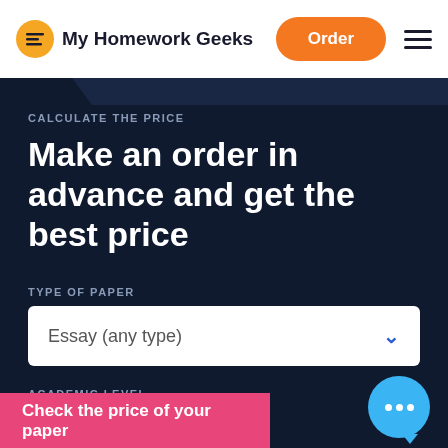My Homework Geeks | Order | Menu
CALCULATE THE PRICE
Make an order in advance and get the best price
TYPE OF PAPER
Essay (any type)
ACADEMIC LEVEL
Check the price of your paper